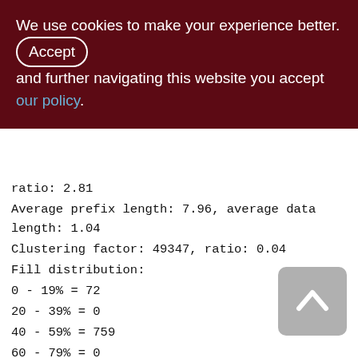We use cookies to make your experience better. By accepting and further navigating this website you accept our policy.
ratio: 2.81
Average prefix length: 7.96, average data length: 1.04
Clustering factor: 49347, ratio: 0.04
Fill distribution:
0 - 19% = 72
20 - 39% = 0
40 - 59% = 759
60 - 79% = 0
80 - 99% = 634
Index XQS_1000_3300_SND_ID (1)
Root page: 65437, depth: 2, leaf buckets: